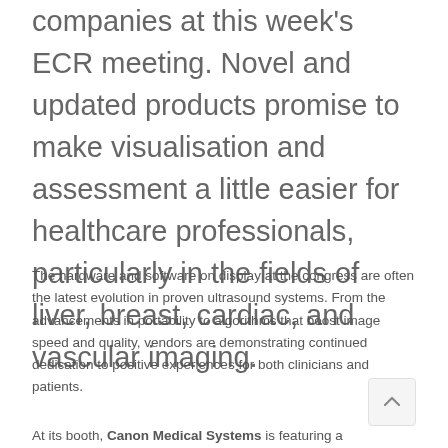companies at this week's ECR meeting. Novel and updated products promise to make visualisation and assessment a little easier for healthcare professionals, particularly in the fields of liver, breast, cardiac, and vascular imaging.
The hardware and software on display at the congress are often the latest evolution in proven ultrasound systems. From the advancements in portability to algorithms that boost image speed and quality, vendors are demonstrating continued dedication to positive experiences for both clinicians and patients.
At its booth, Canon Medical Systems is featuring a